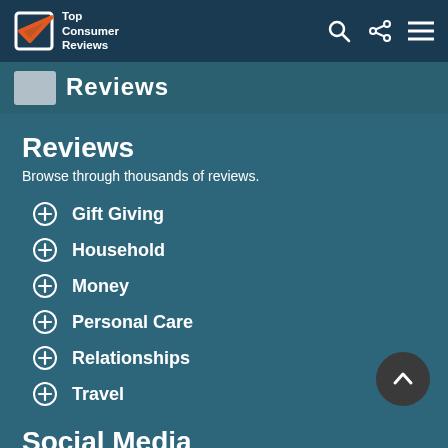Top Consumer Reviews
[Figure (logo): Top Consumer Reviews logo strip with checkmark icon and partial 'Reviews' text]
Reviews
Browse through thousands of reviews.
Gift Giving
Household
Money
Personal Care
Relationships
Travel
Social Media
Like us? Follow us! We'd love to have you join our